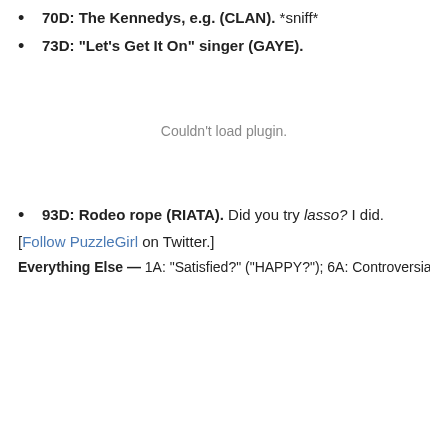70D: The Kennedys, e.g. (CLAN). *sniff*
73D: "Let's Get It On" singer (GAYE).
[Figure (other): Plugin placeholder area showing 'Couldn't load plugin.' message]
93D: Rodeo rope (RIATA). Did you try lasso? I did.
[Follow PuzzleGirl on Twitter.]
Everything Else — 1A: "Satisfied?" ("HAPPY?"); 6A: Controversial initiation practice (HAZING); 23A: What Mexican Olympians go for (EL...